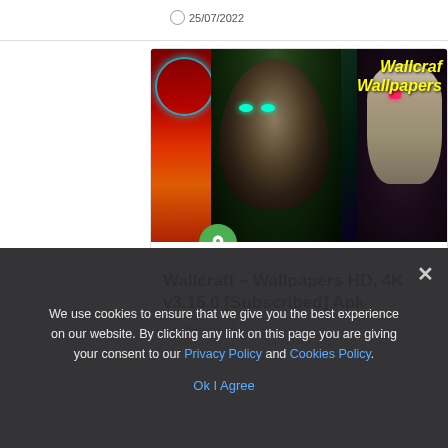25/07/2022
[Figure (photo): Wallcraft app promotional image showing a wolf face with cyan glowing eyes in the center, neon red art on the left, and a skull face on the right, with yellow italic 'Wallcraft Wallpapers' text in top right corner. A green pin badge overlaps the bottom-left of the image.]
Wallcraft – Wallpapers HD, 4K v3.15.0 [Subscribed] Apk
24/07/2022
We use cookies to ensure that we give you the best experience on our website. By clicking any link on this page you are giving your consent to our Privacy Policy and Cookies Policy.
Ok I Agree